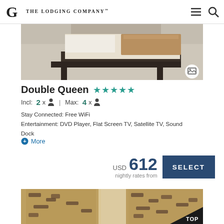The Lodging Company
[Figure (photo): Hotel room photo showing a bed with dark wooden frame and beige/brown carpet, partial view from above]
Double Queen ★★★★★
Incl: 2x [person icon] | Max: 4x [person icon]
Stay Connected: Free WiFi
Entertainment: DVD Player, Flat Screen TV, Satellite TV, Sound Dock
More
USD 612
nightly rates from
[Figure (photo): Hotel room photo showing decorative curtains with animal print pattern, partial view]